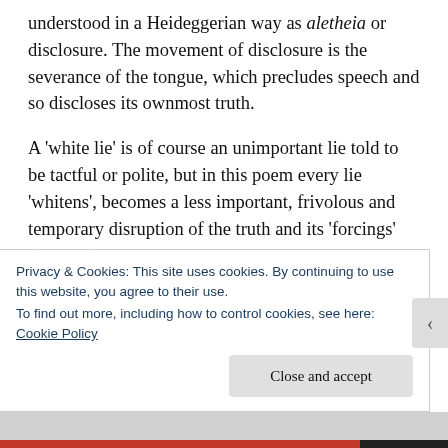understood in a Heideggerian way as aletheia or disclosure. The movement of disclosure is the severance of the tongue, which precludes speech and so discloses its ownmost truth.
A 'white lie' is of course an unimportant lie told to be tactful or polite, but in this poem every lie 'whitens', becomes a less important, frivolous and temporary disruption of the truth and its 'forcings' (Badiou). The next question is an ethical one: How do we treat those who lost their truth because they were fighting their lies? Those who got too confused about the world? Should we write them off and lot
Privacy & Cookies: This site uses cookies. By continuing to use this website, you agree to their use.
To find out more, including how to control cookies, see here: Cookie Policy